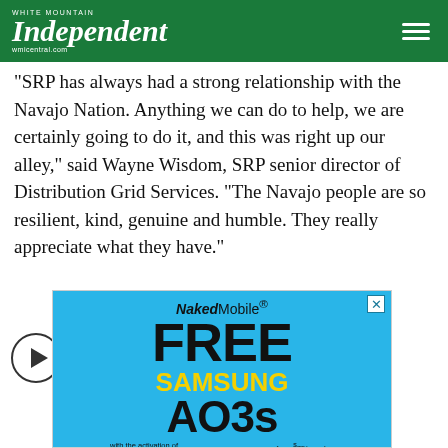White Mountain Independent — wmicentral.com
"SRP has always had a strong relationship with the Navajo Nation. Anything we can do to help, we are certainly going to do it, and this was right up our alley," said Wayne Wisdom, SRP senior director of Distribution Grid Services. "The Navajo people are so resilient, kind, genuine and humble. They really appreciate what they have."
[Figure (infographic): NakedMobile advertisement: FREE SAMSUNG AO3s with the activation of 2 MONTHS of our $75/mo plan 60 GB LTE. Blue background with yellow and black text.]